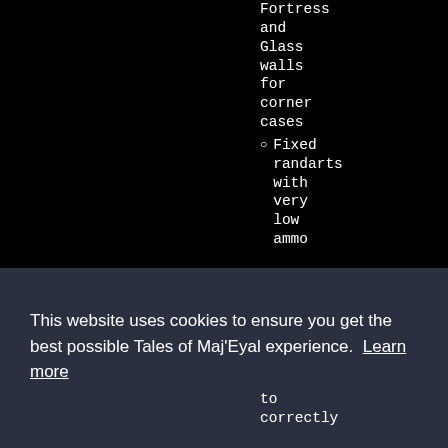Fortress and Glass walls for corner cases
Fixed randarts with very low ammo
This website uses cookies to ensure you get the best possible Tales of Maj'Eyal experience.  Learn more
Got it!
to correctly